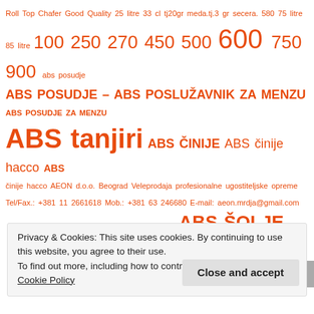Roll Top Chafer Good Quality 25 litre 33 cl tj20gr meda.tj.3 gr secera. 580 75 litre 85 litre 100 250 270 450 500 600 750 900 abs posudje ABS POSUDJE – ABS POSLUŽAVNIK ZA MENZU ABS POSUDJE ZA MENZU ABS tanjiri ABS ČINIJE ABS činije hacco ABS činije hacco AEON d.o.o. Beograd Veleprodaja profesionalne ugostiteljske opreme Tel/Fax.: +381 11 2661618 Mob.: +381 63 246680 E-mail: aeon.mrdja@gmail.com www.aeon.co.rs AEON DOO BEOGRAD inox in ABS ŠOLJE AEON – Inventar za ugostiteljstvo AEON -Katalog ugostiteljske opreme, Aeon – Oprema za ketering – Dish – Diš AEON – VELEPRODAJA PROFESIONALNE UGOSTITELJSKE OPREME AEON – ČAŠE ZA SOK AEON D.O.O. BEOGRAD INCER INOX aeon.co.rs aeon.mrdja@gmail.com
Privacy & Cookies: This site uses cookies. By continuing to use this website, you agree to their use. To find out more, including how to control cookies, see here: Cookie Policy
Close and accept